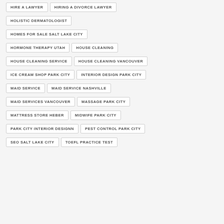HIRE A LAWYER
HIRING A DIVORCE LAWYER
HOLISTIC DERMATOLOGIST
HOMES FOR SALE SALT LAKE CITY
HORMONE THERAPY UTAH
HOUSE CLEANING
HOUSE CLEANING SERVICE
HOUSE CLEANING VANCOUVER
ICE CREAM SHOP PARK CITY
INTERIOR DESIGN PARK CITY
MAID SERVICE
MAID SERVICE NASHVILLE
MAID SERVICES VANCOUVER
MASSAGE PARK CITY
MATTRESS STORE HEBER
MIDWIFE PARK CITY
PARK CITY INTERIOR DESIGNN
PEST CONTROL PARK CITY
SEO SALT LAKE CITY
TOEFL PRACTICE TEST